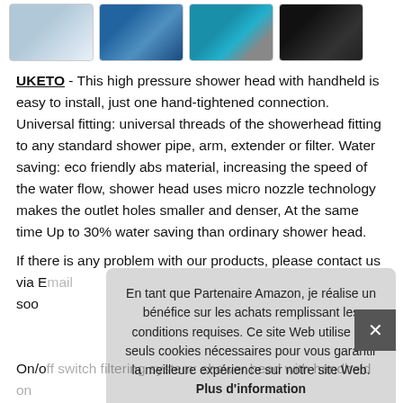[Figure (screenshot): Row of four product thumbnail images at the top of the page]
UKETO - This high pressure shower head with handheld is easy to install, just one hand-tightened connection. Universal fitting: universal threads of the showerhead fitting to any standard shower pipe, arm, extender or filter. Water saving: eco friendly abs material, increasing the speed of the water flow, shower head uses micro nozzle technology makes the outlet holes smaller and denser, At the same time Up to 30% water saving than ordinary shower head.
If there is any problem with our products, please contact us via E...soo...
[Figure (screenshot): Cookie consent popup overlay in French: En tant que Partenaire Amazon, je réalise un bénéfice sur les achats remplissant les conditions requises. Ce site Web utilise les seuls cookies nécessaires pour vous garantir la meilleure expérience sur notre site Web. Plus d'information]
On/off switch filtering system: shower head with handheld on